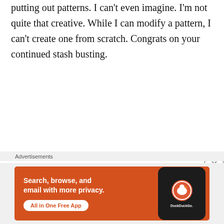putting out patterns. I can't even imagine. I'm not quite that creative. While I can modify a pattern, I can't create one from scratch. Congrats on your continued stash busting.
Liked by 2 people
Reply
Cinna Knits says: February 8, 2021 at 7:30 am
Advertisements
[Figure (screenshot): DuckDuckGo advertisement banner: 'Search, browse, and email with more privacy. All in One Free App' on orange background with phone graphic showing DuckDuckGo logo]